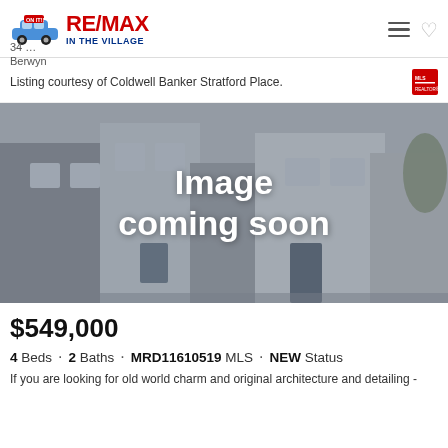[Figure (logo): RE/MAX In The Village logo with blue car graphic]
34 ... Berwyn
Listing courtesy of Coldwell Banker Stratford Place.
[Figure (photo): Image coming soon placeholder over a house photograph background]
$549,000
4 Beds · 2 Baths · MRD11610519 MLS · NEW Status
If you are looking for old world charm and original architecture and detailing -